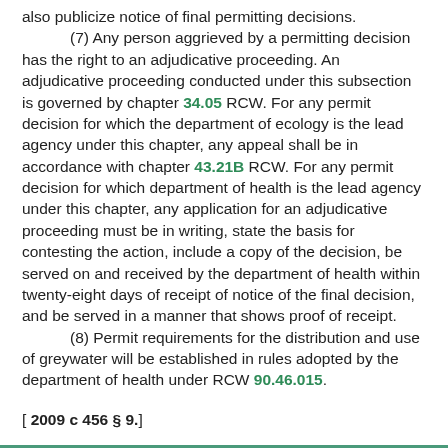also publicize notice of final permitting decisions.
(7) Any person aggrieved by a permitting decision has the right to an adjudicative proceeding. An adjudicative proceeding conducted under this subsection is governed by chapter 34.05 RCW. For any permit decision for which the department of ecology is the lead agency under this chapter, any appeal shall be in accordance with chapter 43.21B RCW. For any permit decision for which department of health is the lead agency under this chapter, any application for an adjudicative proceeding must be in writing, state the basis for contesting the action, include a copy of the decision, be served on and received by the department of health within twenty-eight days of receipt of notice of the final decision, and be served in a manner that shows proof of receipt.
(8) Permit requirements for the distribution and use of greywater will be established in rules adopted by the department of health under RCW 90.46.015.
[ 2009 c 456 § 9.]